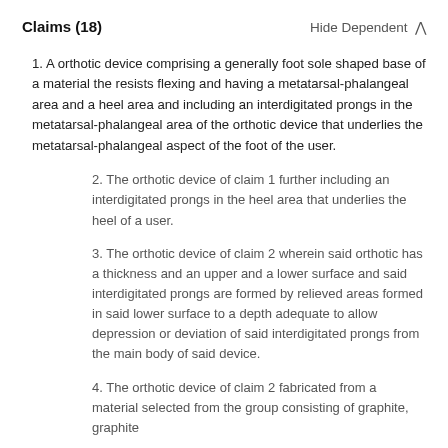Claims (18)    Hide Dependent ^
1. A orthotic device comprising a generally foot sole shaped base of a material the resists flexing and having a metatarsal-phalangeal area and a heel area and including an interdigitated prongs in the metatarsal-phalangeal area of the orthotic device that underlies the metatarsal-phalangeal aspect of the foot of the user.
2. The orthotic device of claim 1 further including an interdigitated prongs in the heel area that underlies the heel of a user.
3. The orthotic device of claim 2 wherein said orthotic has a thickness and an upper and a lower surface and said interdigitated prongs are formed by relieved areas formed in said lower surface to a depth adequate to allow depression or deviation of said interdigitated prongs from the main body of said device.
4. The orthotic device of claim 2 fabricated from a material selected from the group consisting of graphite, graphite